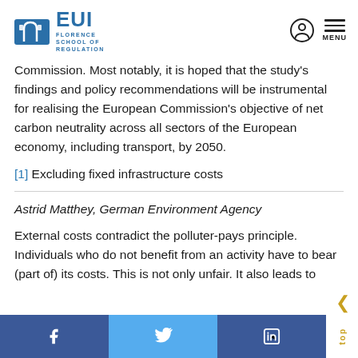EUI Florence School of Regulation | Menu
Commission. Most notably, it is hoped that the study's findings and policy recommendations will be instrumental for realising the European Commission's objective of net carbon neutrality across all sectors of the European economy, including transport, by 2050.
[1] Excluding fixed infrastructure costs
Astrid Matthey, German Environment Agency
External costs contradict the polluter-pays principle. Individuals who do not benefit from an activity have to bear (part of) its costs. This is not only unfair. It also leads to
Facebook | Twitter | LinkedIn | top